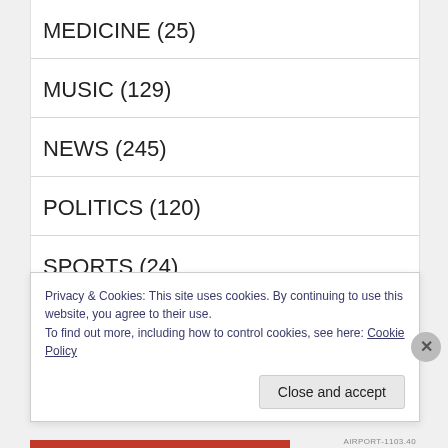MEDICINE (25)
MUSIC (129)
NEWS (245)
POLITICS (120)
SPORTS (24)
TV (205)
Privacy & Cookies: This site uses cookies. By continuing to use this website, you agree to their use.
To find out more, including how to control cookies, see here: Cookie Policy
Close and accept